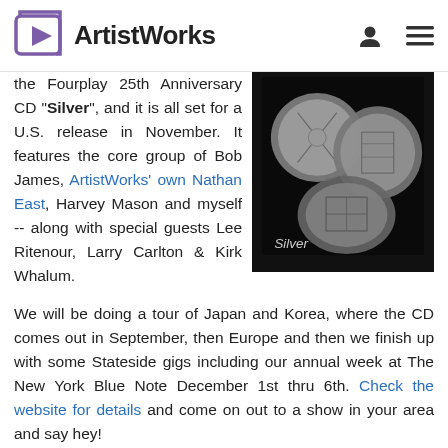AristWorks
[Figure (photo): Black and white photo of silver coins with the word 'Silver' overlaid at the bottom left]
the Fourplay 25th Anniversary CD "Silver", and it is all set for a U.S. release in November. It features the core group of Bob James, ArtistWorks' own Nathan East, Harvey Mason and myself -- along with special guests Lee Ritenour, Larry Carlton & Kirk Whalum.
We will be doing a tour of Japan and Korea, where the CD comes out in September, then Europe and then we finish up with some Stateside gigs including our annual week at The New York Blue Note December 1st thru 6th. Check the website for details and come on out to a show in your area and say hey!